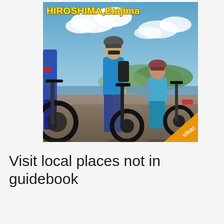[Figure (photo): Photo of two cyclists with e-bikes standing near a waterfront wall under a blue sky. A man in a blue t-shirt and helmet, and a woman in blue outfit sitting on a wall with a helmet. Red and black e-bikes visible. 'HIROSHIMA,Etajima' text in bold yellow at the top and an orange 'click!' badge at the bottom right corner.]
Visit local places not in guidebook